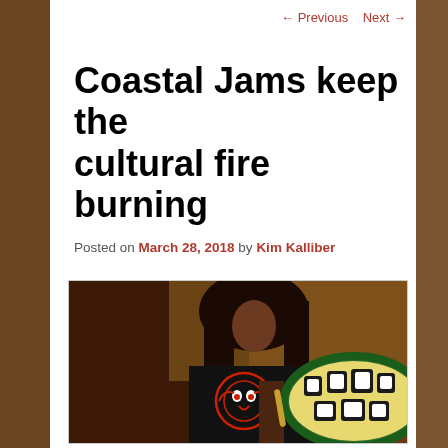← Previous   Next →
Coastal Jams keep the cultural fire burning
Posted on March 28, 2018 by Kim Kalliber
[Figure (photo): A man with long dark hair wearing a black t-shirt with Indigenous Northwest Coast art design holds a decorated Indigenous drum with green, yellow, black and white formline designs. He appears to be examining or playing the drum indoors.]